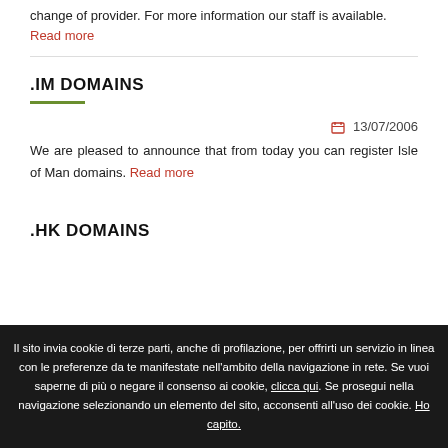change of provider. For more information our staff is available. Read more
.IM DOMAINS
13/07/2006 — We are pleased to announce that from today you can register Isle of Man domains. Read more
.HK DOMAINS
Il sito invia cookie di terze parti, anche di profilazione, per offrirti un servizio in linea con le preferenze da te manifestate nell'ambito della navigazione in rete. Se vuoi saperne di più o negare il consenso ai cookie, clicca qui. Se prosegui nella navigazione selezionando un elemento del sito, acconsenti all'uso dei cookie. Ho capito.